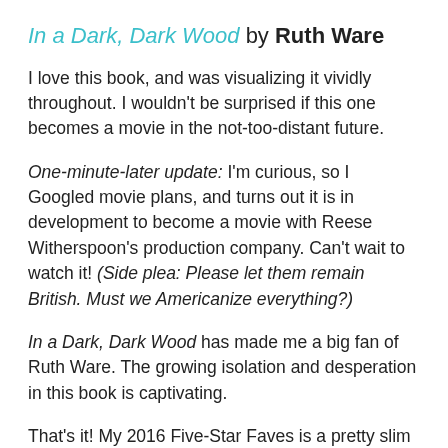In a Dark, Dark Wood by Ruth Ware
I love this book, and was visualizing it vividly throughout. I wouldn't be surprised if this one becomes a movie in the not-too-distant future.
One-minute-later update: I'm curious, so I Googled movie plans, and turns out it is in development to become a movie with Reese Witherspoon's production company. Can't wait to watch it! (Side plea: Please let them remain British. Must we Americanize everything?)
In a Dark, Dark Wood has made me a big fan of Ruth Ware. The growing isolation and desperation in this book is captivating.
That's it! My 2016 Five-Star Faves is a pretty slim list...